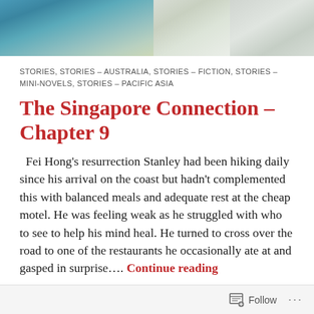[Figure (photo): Aerial coastal photograph showing ocean, beach, and buildings/structures]
STORIES, STORIES - AUSTRALIA, STORIES - FICTION, STORIES - MINI-NOVELS, STORIES - PACIFIC ASIA
The Singapore Connection – Chapter 9
Fei Hong's resurrection Stanley had been hiking daily since his arrival on the coast but hadn't complemented this with balanced meals and adequate rest at the cheap motel. He was feeling weak as he struggled with who to see to help his mind heal. He turned to cross over the road to one of the restaurants he occasionally ate at and gasped in surprise…. Continue reading
JULY 30, 2020 / 4 COMMENTS
Follow